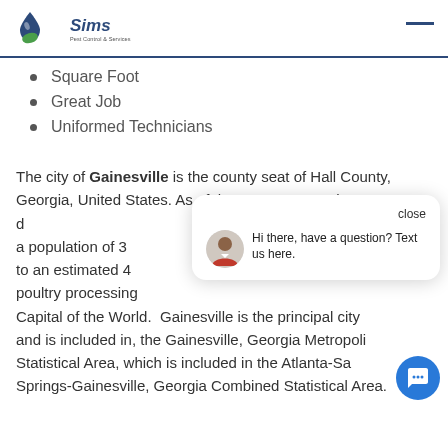Sims
Square Foot
Great Job
Uniformed Technicians
The city of Gainesville is the county seat of Hall County, Georgia, United States. As of the 2010 census, the [city had] a population of 3[3,804. It has since grown] to an estimated 4[0,000. Gainesville has a] poultry processing [industry and is known as the Poultry] Capital of the Wor[ld. Gainesville is the principal city] and is included in, the Gainesville, Georgia Metropoli[tan] Statistical Area, which is included in the Atlanta-Sa[ndy] Springs-Gainesville, Georgia Combined Statistical Area.